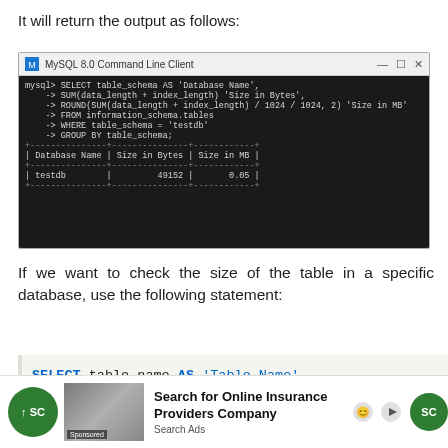It will return the output as follows:
[Figure (screenshot): MySQL 8.0 Command Line Client window showing a SELECT query on information_schema.tables for testdb, with results showing Database Name: testdb, Size in Bytes: 49152, Size in MB: 0.05]
If we want to check the size of the table in a specific database, use the following statement:
[Figure (screenshot): Advertisement: Search for Online Insurance Providers Company - Search Ads]